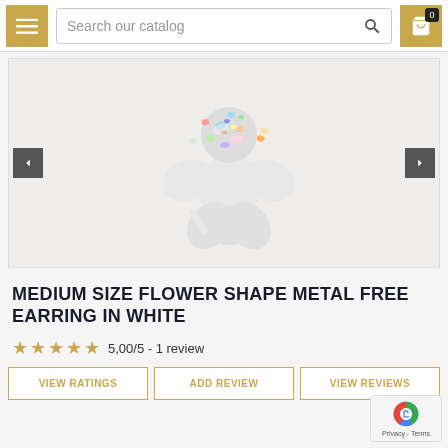[Figure (screenshot): E-commerce product page screenshot showing navigation bar with hamburger menu, search bar, and cart icon at top]
[Figure (photo): White flower-shaped metal-free earring with colorful confetti/disco ball-style crystal bead on top]
MEDIUM SIZE FLOWER SHAPE METAL FREE EARRING IN WHITE
5,00/5 - 1 review
VIEW RATINGS
ADD REVIEW
VIEW REVIEWS